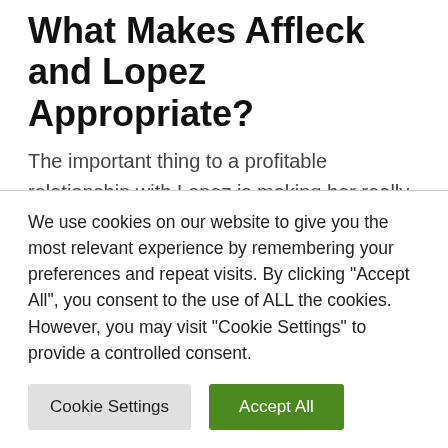What Makes Affleck and Lopez Appropriate?
The important thing to a profitable relationship with Lopez is making her really feel assured, secure, and in charge of the connection, since she's a pure chief. Affleck provides her that assist. He would not really feel the necessity to play energy video games and prefers that she's within the driver's seat. That is what turns him on: seeing her within the limelight and
We use cookies on our website to give you the most relevant experience by remembering your preferences and repeat visits. By clicking "Accept All", you consent to the use of ALL the cookies. However, you may visit "Cookie Settings" to provide a controlled consent.